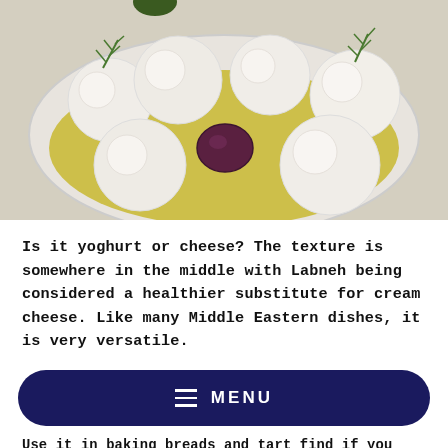[Figure (photo): White bowl filled with labneh/mozzarella balls in olive oil, garnished with rosemary sprigs and a dark olive, on a light stone surface]
Is it yoghurt or cheese? The texture is somewhere in the middle with Labneh being considered a healthier substitute for cream cheese. Like many Middle Eastern dishes, it is very versatile.
MENU
Use it in baking breads and tart find if you want to give your fruit smoothie that unique tangy flavour, go ahead and add